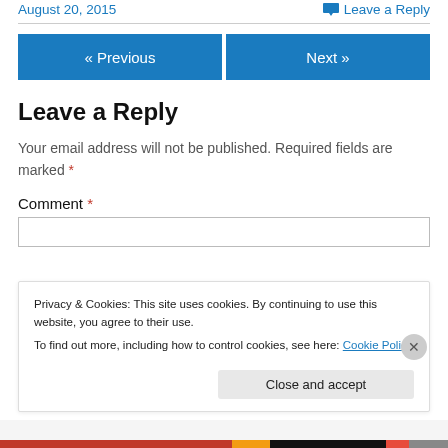August 20, 2015   Leave a Reply
« Previous   Next »
Leave a Reply
Your email address will not be published. Required fields are marked *
Comment *
Privacy & Cookies: This site uses cookies. By continuing to use this website, you agree to their use. To find out more, including how to control cookies, see here: Cookie Policy
Close and accept